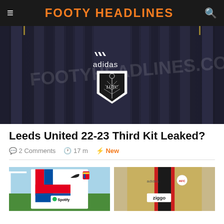FOOTY HEADLINES
[Figure (photo): Dark navy/charcoal Leeds United third kit jersey with vertical stripe pattern, Adidas logo, and LUTC shield badge. Footyheadlines.com watermark visible.]
Leeds United 22-23 Third Kit Leaked?
2 Comments  17 m  New
[Figure (photo): FC Barcelona white kit with colorful stripe design, Nike swoosh, Spotify logo, player wearing it in front of goal]
[Figure (photo): Ajax away kit in gold/tan color with black and red stripe, Adidas logo, Ziggo sponsor]